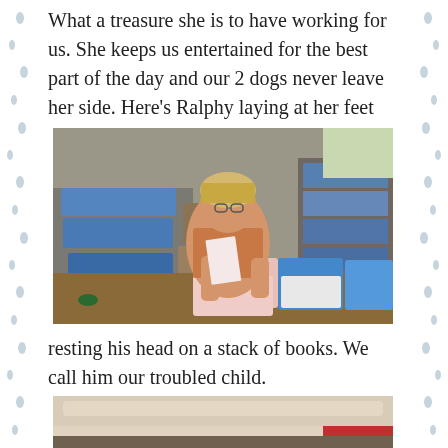What a treasure she is to have working for us. She keeps us entertained for the best part of the day and our 2 dogs never leave her side. Here's Ralphy laying at her feet
[Figure (photo): Woman sitting at a desk covered with storage bins, trays, and craft supplies in what appears to be a storage or craft room. She is holding papers and wearing a patterned floral shirt.]
resting his head on a stack of books. We call him our troubled child.
[Figure (photo): Partial photo showing what appears to be a light-colored dog or animal at the bottom of the page.]